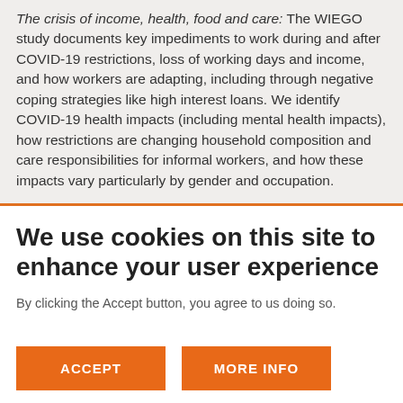The crisis of income, health, food and care: The WIEGO study documents key impediments to work during and after COVID-19 restrictions, loss of working days and income, and how workers are adapting, including through negative coping strategies like high interest loans. We identify COVID-19 health impacts (including mental health impacts), how restrictions are changing household composition and care responsibilities for informal workers, and how these impacts vary particularly by gender and occupation.
We use cookies on this site to enhance your user experience
By clicking the Accept button, you agree to us doing so.
ACCEPT
MORE INFO